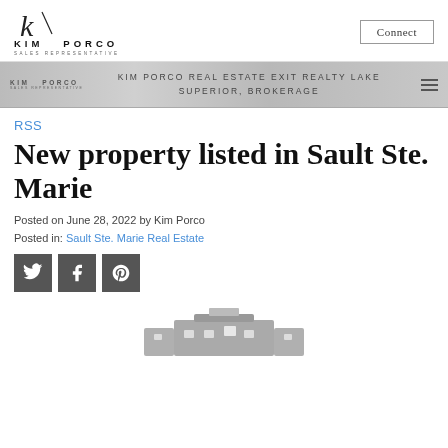[Figure (logo): Kim Porco Sales Representative logo with stylized K signature]
Connect
[Figure (infographic): Kim Porco real estate banner with logo and menu icon]
KIM PORCO REAL ESTATE EXIT REALTY LAKE SUPERIOR, BROKERAGE
RSS
New property listed in Sault Ste. Marie
Posted on June 28, 2022 by Kim Porco
Posted in: Sault Ste. Marie Real Estate
[Figure (infographic): Social share buttons: Twitter, Facebook, Pinterest]
[Figure (photo): Partial photo of a property listing in Sault Ste. Marie]